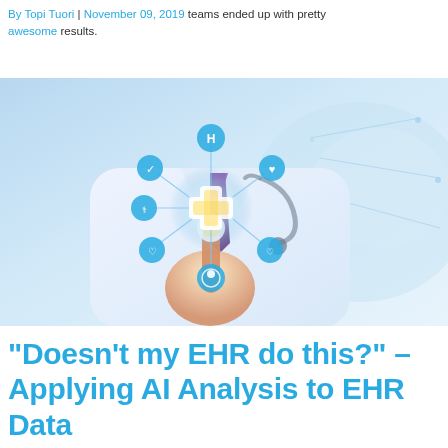By Topi Tuori | November 09, 2019 teams ended up with pretty awesome results.
[Figure (photo): A doctor in a white lab coat and stethoscope pointing at a glowing digital medical cross icon surrounded by connected health symbols including a heart, H (hospital), and other medical icons, suggesting AI or digital health technology.]
“Doesn’t my EHR do this?” – Applying AI Analysis to EHR Data